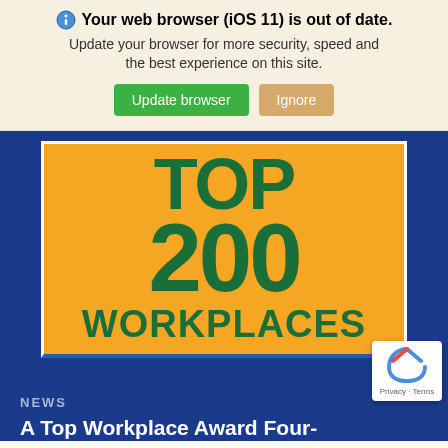Your web browser (iOS 11) is out of date. Update your browser for more security, speed and the best experience on this site.
[Figure (screenshot): Top 200 Workplaces badge on gold/yellow background with dark green bold text reading TOP 200 WORKPLACES]
NEWS
A Top Workplace Award Four-